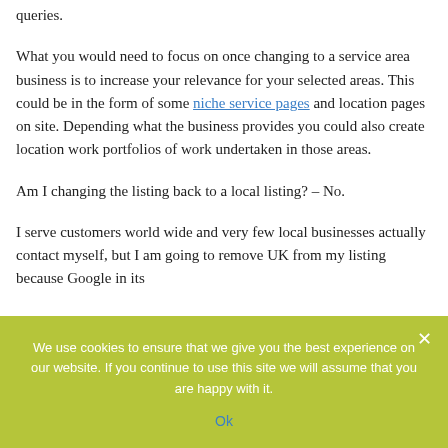queries.
What you would need to focus on once changing to a service area business is to increase your relevance for your selected areas. This could be in the form of some niche service pages and location pages on site. Depending what the business provides you could also create location work portfolios of work undertaken in those areas.
Am I changing the listing back to a local listing? – No.
I serve customers world wide and very few local businesses actually contact myself, but I am going to remove UK from my listing because Google in its
We use cookies to ensure that we give you the best experience on our website. If you continue to use this site we will assume that you are happy with it.
Ok